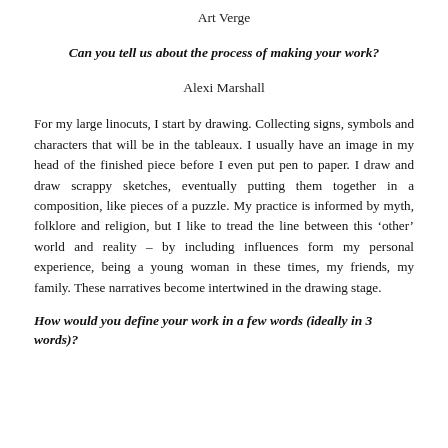Art Verge
Can you tell us about the process of making your work?
Alexi Marshall
For my large linocuts, I start by drawing. Collecting signs, symbols and characters that will be in the tableaux. I usually have an image in my head of the finished piece before I even put pen to paper. I draw and draw scrappy sketches, eventually putting them together in a composition, like pieces of a puzzle. My practice is informed by myth, folklore and religion, but I like to tread the line between this ‘other’ world and reality – by including influences form my personal experience, being a young woman in these times, my friends, my family. These narratives become intertwined in the drawing stage.
How would you define your work in a few words (ideally in 3 words)?